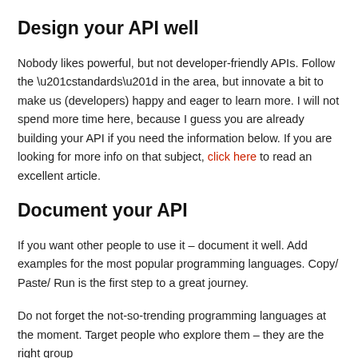Design your API well
Nobody likes powerful, but not developer-friendly APIs. Follow the “standards” in the area, but innovate a bit to make us (developers) happy and eager to learn more. I will not spend more time here, because I guess you are already building your API if you need the information below. If you are looking for more info on that subject, click here to read an excellent article.
Document your API
If you want other people to use it – document it well. Add examples for the most popular programming languages. Copy/ Paste/ Run is the first step to a great journey.
Do not forget the not-so-trending programming languages at the moment. Target people who explore them – they are the right group